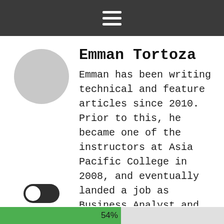☰
[Figure (photo): Circular grey avatar placeholder image]
Emman Tortoza
Emman has been writing technical and feature articles since 2010. Prior to this, he became one of the instructors at Asia Pacific College in 2008, and eventually landed a job as Business Analyst and Technical Writer at Integrated Open Source Solutions for almost 3
[Figure (other): Toggle switch UI element, switched to off/left position, dark background]
54%